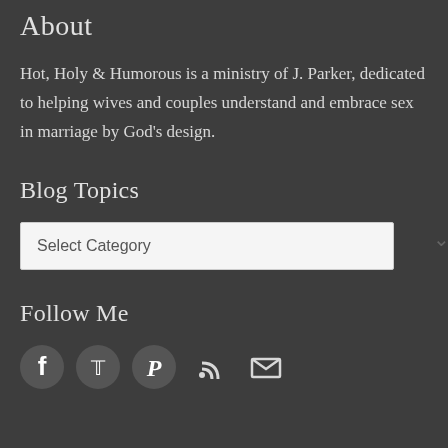About
Hot, Holy & Humorous is a ministry of J. Parker, dedicated to helping wives and couples understand and embrace sex in marriage by God's design.
Blog Topics
[Figure (other): A dropdown select box labeled 'Select Category' with a chevron/arrow icon on the right side]
Follow Me
[Figure (infographic): A row of five social media icon circles: Facebook, Twitter, Pinterest, RSS feed, and Email/envelope]